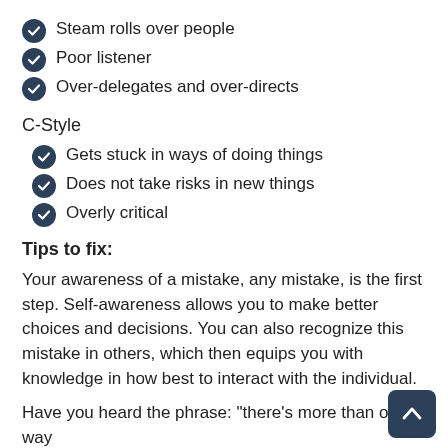Steam rolls over people
Poor listener
Over-delegates and over-directs
C-Style
Gets stuck in ways of doing things
Does not take risks in new things
Overly critical
Tips to fix:
Your awareness of a mistake, any mistake, is the first step. Self-awareness allows you to make better choices and decisions. You can also recognize this mistake in others, which then equips you with knowledge in how best to interact with the individual.
Have you heard the phrase: "there's more than one way